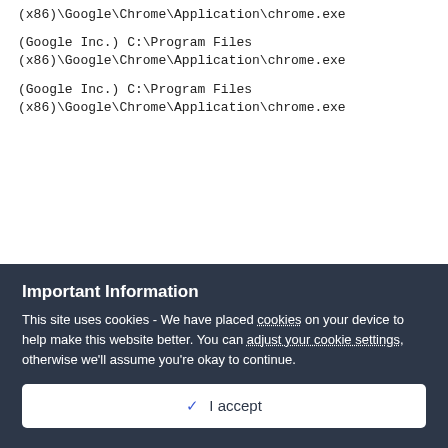(x86)\Google\Chrome\Application\chrome.exe
(Google Inc.) C:\Program Files (x86)\Google\Chrome\Application\chrome.exe
(Google Inc.) C:\Program Files (x86)\Google\Chrome\Application\chrome.exe
=================== Registry (Whitelisted)
Important Information
This site uses cookies - We have placed cookies on your device to help make this website better. You can adjust your cookie settings, otherwise we'll assume you're okay to continue.
✓ I accept